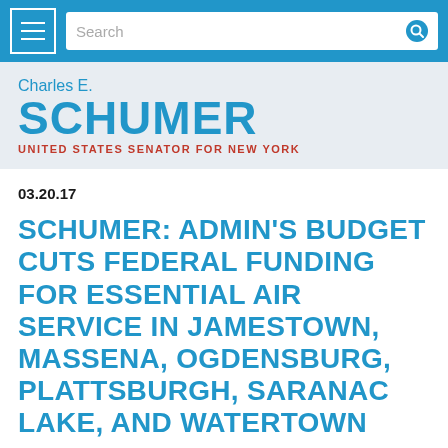Search
[Figure (logo): Charles E. Schumer - United States Senator for New York logo/header]
03.20.17
SCHUMER: ADMIN'S BUDGET CUTS FEDERAL FUNDING FOR ESSENTIAL AIR SERVICE IN JAMESTOWN, MASSENA, OGDENSBURG, PLATTSBURGH, SARANAC LAKE, AND WATERTOWN